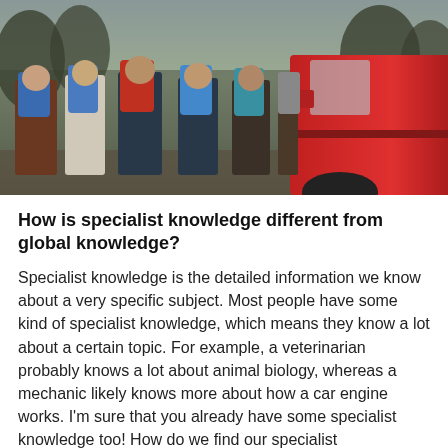[Figure (photo): Group of people with colorful backpacks (blue, red) standing with their backs to the camera next to a red SUV/truck, in an outdoor/nature setting]
How is specialist knowledge different from global knowledge?
Specialist knowledge is the detailed information we know about a very specific subject. Most people have some kind of specialist knowledge, which means they know a lot about a certain topic. For example, a veterinarian probably knows a lot about animal biology, whereas a mechanic likely knows more about how a car engine works. I'm sure that you already have some specialist knowledge too! How do we find our specialist